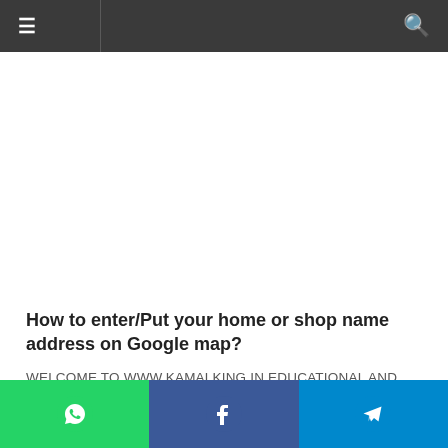≡ [navigation menu] [search icon]
[Figure (other): Advertisement banner area (white/blank space)]
How to enter/Put your home or shop name address on Google map?
WELCOME TO WWW.KAMALKING.IN EDUCATIONAL AND LATEST JOBS UPDATES PORTAL SINCE 2012.
Do you also want to learn how to enter your home, shop or any famous place on Google Maps. So believe me, this post
[Figure (other): Social sharing bar with WhatsApp (green), Facebook (blue), and Telegram (light blue) buttons at the bottom of the page]